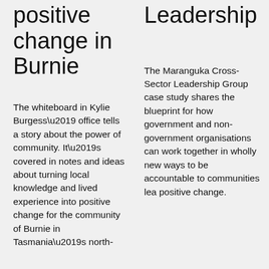positive change in Burnie
The whiteboard in Kylie Burgess’ office tells a story about the power of community. It’s covered in notes and ideas about turning local knowledge and lived experience into positive change for the community of Burnie in Tasmania’s north-
Leadership
The Maranguka Cross-Sector Leadership Group case study shares the blueprint for how government and non-government organisations can work together in wholly new ways to be accountable to communities lea positive change.